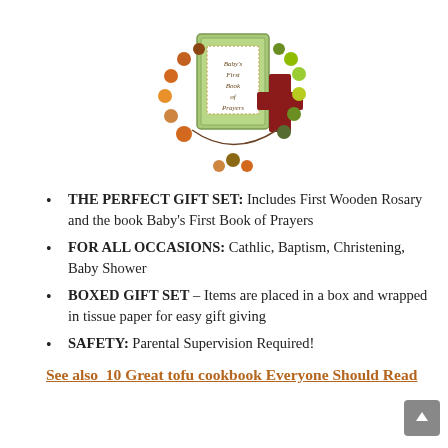[Figure (photo): Photo of a baby rosary with colorful wooden beads and a red cross, alongside a small book titled 'Baby's First Book of Prayers']
THE PERFECT GIFT SET: Includes First Wooden Rosary and the book Baby's First Book of Prayers
FOR ALL OCCASIONS: Cathlic, Baptism, Christening, Baby Shower
BOXED GIFT SET – Items are placed in a box and wrapped in tissue paper for easy gift giving
SAFETY: Parental Supervision Required!
See also  10 Great tofu cookbook Everyone Should Read